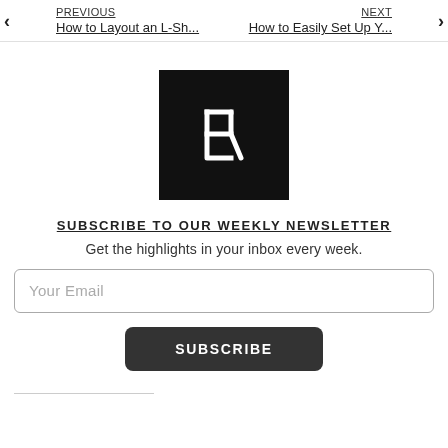PREVIOUS | How to Layout an L-Sh... | NEXT | How to Easily Set Up Y...
[Figure (logo): Black square logo with white stylized R/J lettermark symbol]
SUBSCRIBE TO OUR WEEKLY NEWSLETTER
Get the highlights in your inbox every week.
Your Email
SUBSCRIBE